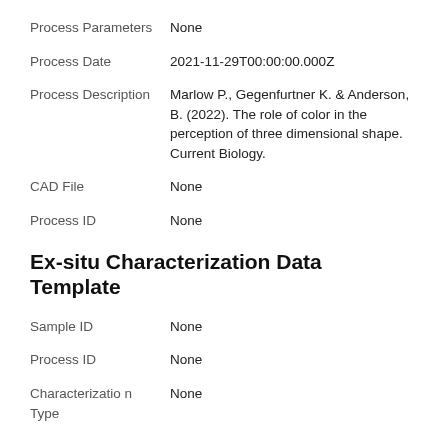Process Parameters	None
Process Date	2021-11-29T00:00:00.000Z
Process Description	Marlow P., Gegenfurtner K. & Anderson, B. (2022). The role of color in the perception of three dimensional shape. Current Biology.
CAD File	None
Process ID	None
Ex-situ Characterization Data Template
Sample ID	None
Process ID	None
Characterization Type	None